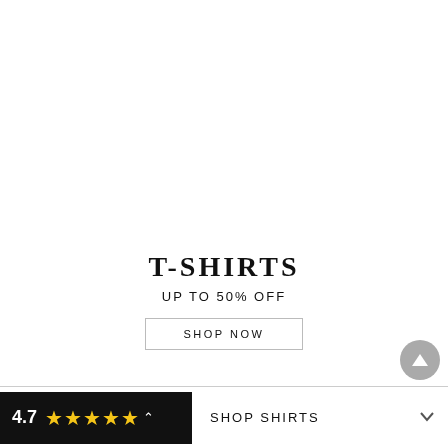T-SHIRTS
UP TO 50% OFF
SHOP NOW
4.7 ★★★★★ SHOP SHIRTS